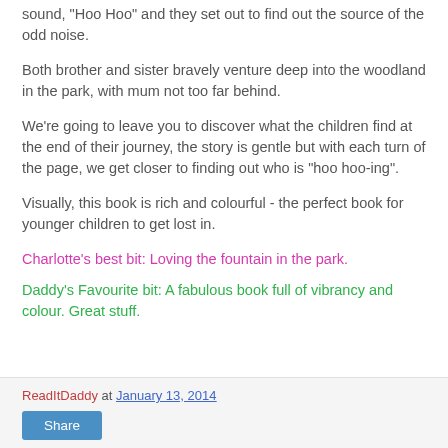sound, "Hoo Hoo" and they set out to find out the source of the odd noise.
Both brother and sister bravely venture deep into the woodland in the park, with mum not too far behind.
We're going to leave you to discover what the children find at the end of their journey, the story is gentle but with each turn of the page, we get closer to finding out who is "hoo hoo-ing".
Visually, this book is rich and colourful - the perfect book for younger children to get lost in.
Charlotte's best bit: Loving the fountain in the park.
Daddy's Favourite bit: A fabulous book full of vibrancy and colour. Great stuff.
ReadItDaddy at January 13, 2014 | Share